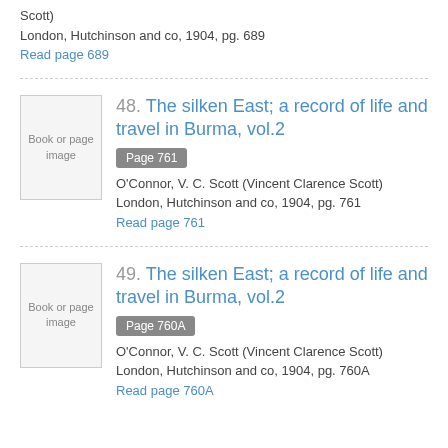Scott)
London, Hutchinson and co, 1904, pg. 689
Read page 689
48. The silken East; a record of life and travel in Burma, vol.2
Page 761
O'Connor, V. C. Scott (Vincent Clarence Scott)
London, Hutchinson and co, 1904, pg. 761
Read page 761
49. The silken East; a record of life and travel in Burma, vol.2
Page 760A
O'Connor, V. C. Scott (Vincent Clarence Scott)
London, Hutchinson and co, 1904, pg. 760A
Read page 760A